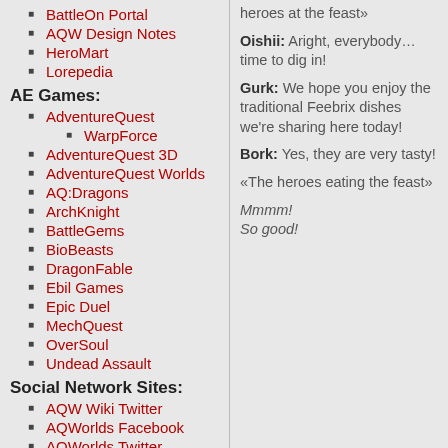BattleOn Portal
AQW Design Notes
HeroMart
Lorepedia
AE Games:
AdventureQuest
WarpForce
AdventureQuest 3D
AdventureQuest Worlds
AQ:Dragons
ArchKnight
BattleGems
BioBeasts
DragonFable
Ebil Games
Epic Duel
MechQuest
OverSoul
Undead Assault
Social Network Sites:
AQW Wiki Twitter
AQWorlds Facebook
AQWorlds Twitter
heroes at the feast»
Oishii: Aright, everybody… time to dig in!
Gurk: We hope you enjoy the traditional Feebrix dishes we're sharing here today!
Bork: Yes, they are very tasty!
«The heroes eating the feast»
Mmmm! So good!